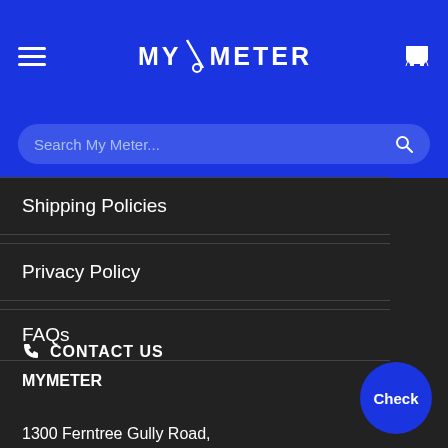MY/METER
Search My Meter...
Shipping Policies
Privacy Policy
FAQs
CONTACT US
MYMETER
1300 Ferntree Gully Road,
Scoresby VIC 3179
ABN 68 168 683 403
Check